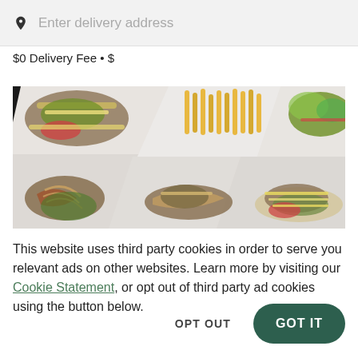Enter delivery address
$0 Delivery Fee • $
[Figure (photo): Overhead view of multiple white plates with various food dishes including tacos, fries, salads and other restaurant items arranged on a dark background]
This website uses third party cookies in order to serve you relevant ads on other websites. Learn more by visiting our Cookie Statement, or opt out of third party ad cookies using the button below.
OPT OUT
GOT IT